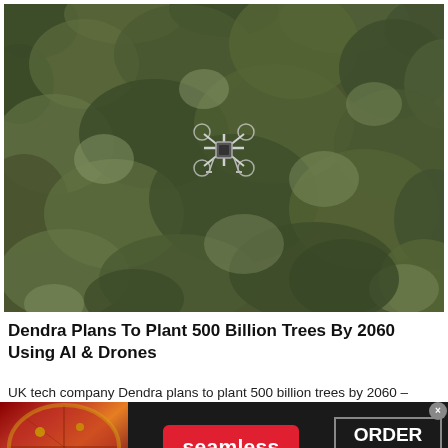[Figure (photo): Aerial/overhead view of a forest canopy with a white quadcopter drone visible in the center of the image, flying over green and brown treetops.]
Dendra Plans To Plant 500 Billion Trees By 2060 Using AI & Drones
UK tech company Dendra plans to plant 500 billion trees by 2060 –
[Figure (screenshot): Advertisement banner for Seamless food delivery. Left side shows pizza images, center has a red button with 'seamless' text in white, right side has a dark box with 'ORDER NOW' text in white. An X close button appears top right.]